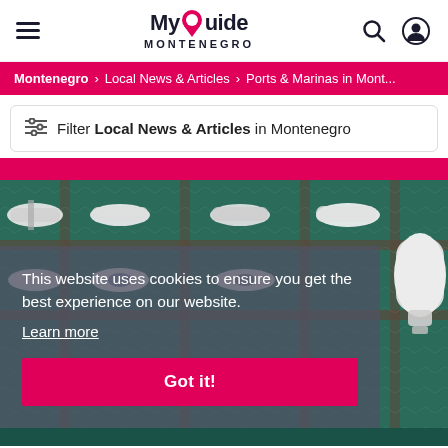MyGuide MONTENEGRO
Montenegro > Local News & Articles > Ports & Marinas in Mont...
Filter Local News & Articles in Montenegro
[Figure (photo): Aerial view of yachts and boats docked at a marina, viewed from above, showing white boats against green/teal water with dock walkways.]
This website uses cookies to ensure you get the best experience on our website.
Learn more
Got it!